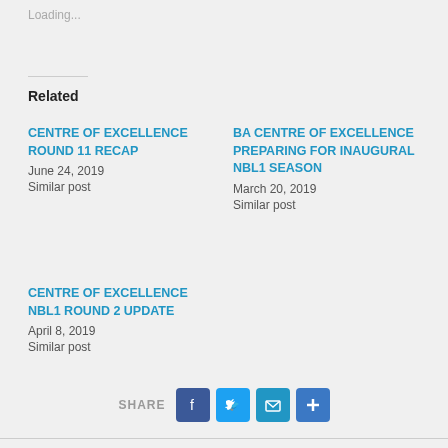Loading...
Related
CENTRE OF EXCELLENCE ROUND 11 RECAP
June 24, 2019
Similar post
BA CENTRE OF EXCELLENCE PREPARING FOR INAUGURAL NBL1 SEASON
March 20, 2019
Similar post
CENTRE OF EXCELLENCE NBL1 ROUND 2 UPDATE
April 8, 2019
Similar post
SHARE